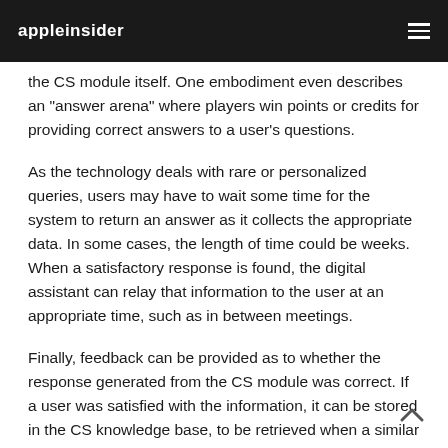appleinsider
the CS module itself. One embodiment even describes an "answer arena" where players win points or credits for providing correct answers to a user's questions.
As the technology deals with rare or personalized queries, users may have to wait some time for the system to return an answer as it collects the appropriate data. In some cases, the length of time could be weeks. When a satisfactory response is found, the digital assistant can relay that information to the user at an appropriate time, such as in between meetings.
Finally, feedback can be provided as to whether the response generated from the CS module was correct. If a user was satisfied with the information, it can be stored in the CS knowledge base, to be retrieved when a similar question is asked. If the CS module determines the user is not pleased with the response, it can either stop looking for an answer or escalate the question to another source, such as a human representative.